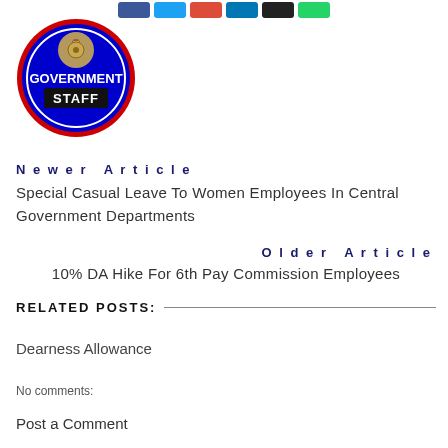[Figure (logo): Government Staff logo — circular blue badge with Indian government emblem and text GOVERNMENT STAFF]
Newer Article
Special Casual Leave To Women Employees In Central Government Departments
Older Article
10% DA Hike For 6th Pay Commission Employees
RELATED POSTS:
Dearness Allowance
No comments:
Post a Comment